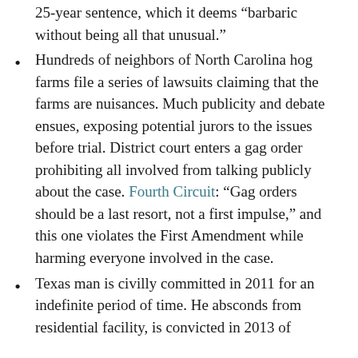25-year sentence, which it deems “babaric without being all that unusual.”
Hundreds of neighbors of North Carolina hog farms file a series of lawsuits claiming that the farms are nuisances. Much publicity and debate ensues, exposing potential jurors to the issues before trial. District court enters a gag order prohibiting all involved from talking publicly about the case. Fourth Circuit: “Gag orders should be a last resort, not a first impulse,” and this one violates the First Amendment while harming everyone involved in the case.
Texas man is civilly committed in 2011 for an indefinite period of time. He absconds from residential facility, is convicted in 2013 of